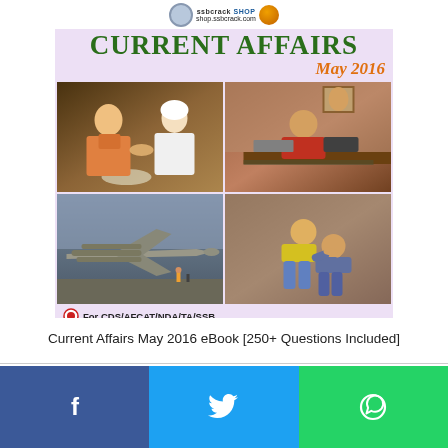[Figure (illustration): Magazine cover for Current Affairs May 2016 eBook from SSBCrack shop, featuring title 'Current Affairs May 2016', four photos (Modi-Rouhani handshake, person at desk, military jet with missiles, wrestling match), bullet points for CDS/AFCAT/NDA/TA/SSB and 250+ Questions from May 2016]
Current Affairs May 2016 eBook [250+ Questions Included]
[Figure (infographic): Social sharing bar with Facebook, Twitter, and WhatsApp buttons]